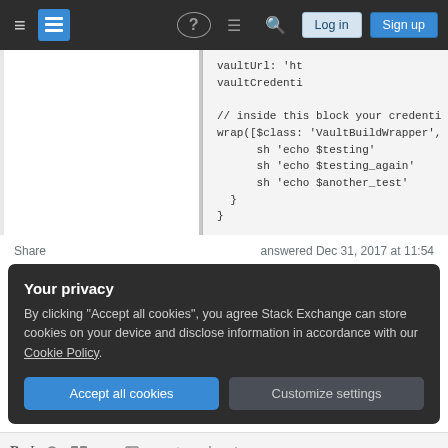Stack Exchange navigation bar with hamburger menu, logo, help, chat, search, Log in, Sign up buttons
[Figure (screenshot): Code block showing Groovy/Jenkins pipeline code snippet: vaultUrl: 'ht, vaultCredenti, // inside this block your credenti, wrap([$class: 'VaultBuildWrapper',, sh 'echo $testing', sh 'echo $testing_again', sh 'echo $another_test', }, }]
Share    answered Dec 31, 2017 at 11:54
Your privacy
By clicking "Accept all cookies", you agree Stack Exchange can store cookies on your device and disclose information in accordance with our Cookie Policy.
Accept all cookies
Customize settings
[Figure (screenshot): Bottom toolbar with formatting icons: B, I, and other editor icons]